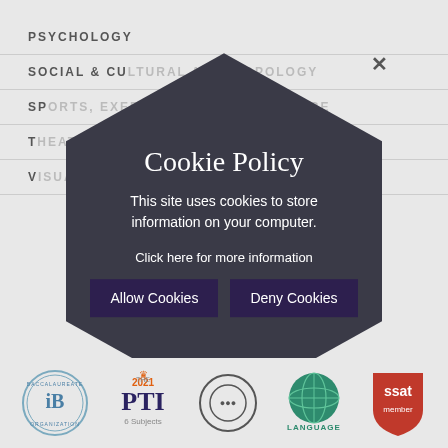PSYCHOLOGY
SOCIAL & CULTURAL ANTHROPOLOGY
SPORTS, EXERCISE & HEALTH SCIENCE
THEATRE
VISUAL ARTS
[Figure (infographic): Dark hexagon-shaped cookie policy popup overlay with close X button, title 'Cookie Policy', description text, a link, and two buttons: Allow Cookies and Deny Cookies]
Cookie Policy
This site uses cookies to store information on your computer.
Click here for more information
Allow Cookies
Deny Cookies
[Figure (logo): IB (International Baccalaureate) circular logo]
[Figure (logo): THE PTI 2021 6 Subjects logo]
[Figure (logo): Circular logo (partially obscured by hexagon)]
[Figure (logo): LANGUAGE globe logo]
[Figure (logo): SSAT member shield logo]